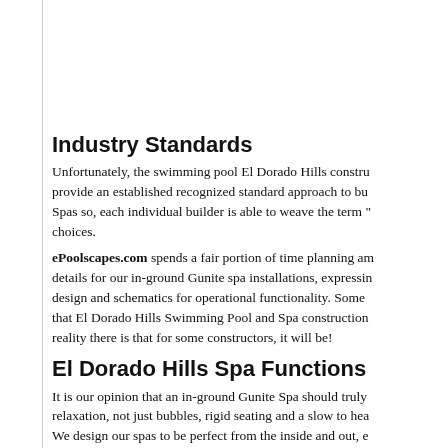Industry Standards
Unfortunately, the swimming pool El Dorado Hills constru... provide an established recognized standard approach to bu... Spas so, each individual builder is able to weave the term "... choices.
ePoolscapes.com spends a fair portion of time planning am... details for our in-ground Gunite spa installations, expressin... design and schematics for operational functionality. Some ... that El Dorado Hills Swimming Pool and Spa construction... reality there is that for some constructors, it will be!
El Dorado Hills Spa Functions
It is our opinion that an in-ground Gunite Spa should truly ... relaxation, not just bubbles, rigid seating and a slow to hea... We design our spas to be perfect from the inside and out, e... and function.